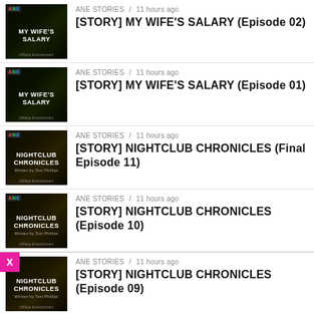ANE STORIES / 11 hours ago
[STORY] MY WIFE'S SALARY (Episode 02)
ANE STORIES / 11 hours ago
[STORY] MY WIFE'S SALARY (Episode 01)
ANE STORIES / 11 hours ago
[STORY] NIGHTCLUB CHRONICLES (Final Episode 11)
ANE STORIES / 11 hours ago
[STORY] NIGHTCLUB CHRONICLES (Episode 10)
ANE STORIES / 11 hours ago
[STORY] NIGHTCLUB CHRONICLES (Episode 09)